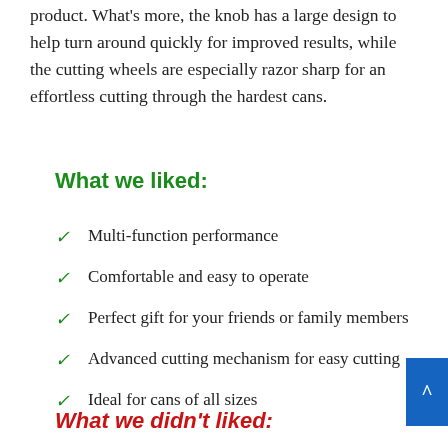product. What's more, the knob has a large design to help turn around quickly for improved results, while the cutting wheels are especially razor sharp for an effortless cutting through the hardest cans.
What we liked:
Multi-function performance
Comfortable and easy to operate
Perfect gift for your friends or family members
Advanced cutting mechanism for easy cutting
Ideal for cans of all sizes
What we didn't liked: